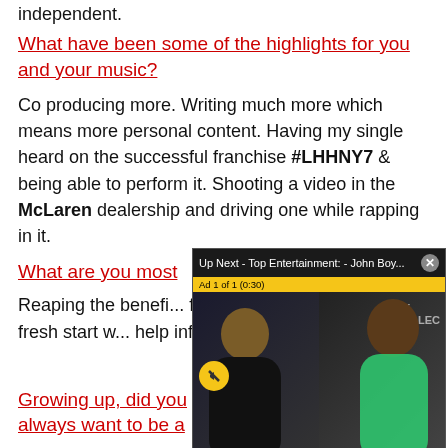independent.
What have been some of the highlights for you and your music?
Co producing more. Writing much more which means more personal content. Having my single heard on the successful franchise #LHHNY7 & being able to perform it. Shooting a video in the McLaren dealership and driving one while rapping in it.
What are you most...
[Figure (screenshot): Video overlay showing 'Up Next - Top Entertainment: - John Boy...' with an ad bar 'Ad 1 of 1 (0:30)' and two people visible in the video player, a mute button shown.]
Reaping the benefits of finally dropping my... want a fresh start w... help influence my a...
Growing up, did you always want to be a